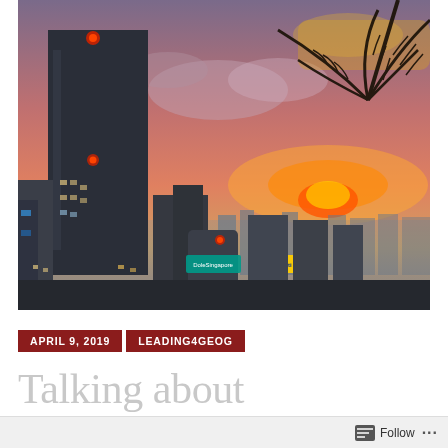[Figure (photo): Cityscape photo of Singapore skyline at sunset. A tall dark skyscraper dominates the left side with red warning lights. The sky is pink-orange with the sun setting on the horizon behind hazy buildings. Palm fronds hang in from the upper right corner. Colorful commercial building signs are visible in the lower portion.]
APRIL 9, 2019
LEADING4GEOG
Talking about
Follow